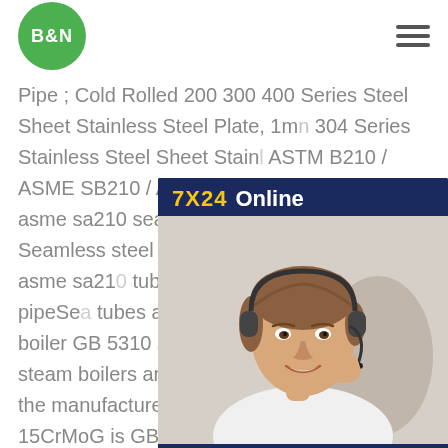B&N
Pipe ; Cold Rolled 200 300 400 Series Steel Sheet Stainless Steel Plate, 1mn 304 Series Stainless Steel Sheet Stain ASTM B210 / ASME SB210 / Aluminum Aluminum-Alloy asme sa210 seamless pressure zs steel pipe Seamless steel pressure boiler - Structure asme sa210 tube for high pressure zs steel pipeSea tubes and pipes for high pressure boiler GB 5310 standard is applicable to steam boilers and pipeline seamless pipes for the manufacture of high pressure and above. 15CrMoG is GB 5310-95 steel grade (equivalent to 13CrMo44 of Federal Germany;
[Figure (photo): Customer service representative woman wearing headset smiling, with 7X24 Online chat popup widget showing 'Hello, may I help you?' and 'Get Latest Price' button]